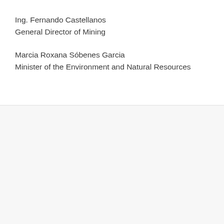Ing. Fernando Castellanos
General Director of Mining
Marcia Roxana Sóbenes Garcia
Minister of the Environment and Natural Resources
[Figure (illustration): Teal/cyan water droplet icon]
Protect Water
Mining can have serious effects on surface and subsurface water (407)